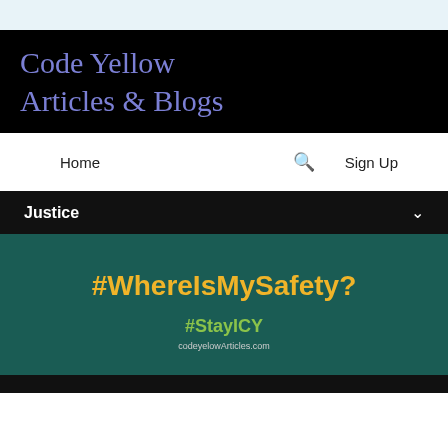Code Yellow Articles & Blogs
Home
Sign Up
Justice
[Figure (infographic): Dark teal background with large bold yellow text '#WhereIsMySafety?' and below it green bold text '#StayICY' with a small URL underneath]